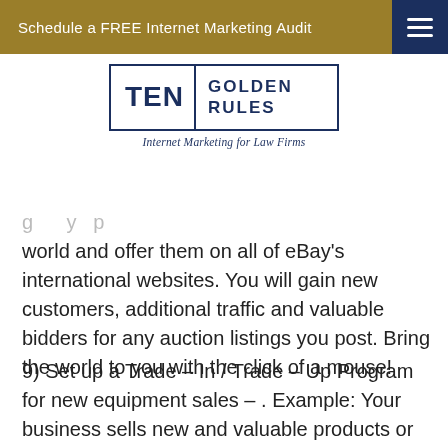Schedule a FREE Internet Marketing Audit
[Figure (logo): Ten Golden Rules logo — Internet Marketing for Law Firms]
world and offer them on all of eBay's international websites. You will gain new customers, additional traffic and valuable bidders for any auction listings you post. Bring the world to you with the click of a mouse!
9) Set up a Trade – In / Trade – Up Program for new equipment sales – . Example: Your business sells new and valuable products or merchandise and has